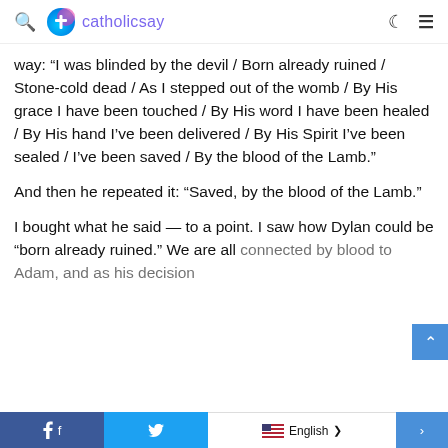catholicsay
way: “I was blinded by the devil / Born already ruined / Stone-cold dead / As I stepped out of the womb / By His grace I have been touched / By His word I have been healed / By His hand I’ve been delivered / By His Spirit I’ve been sealed / I’ve been saved / By the blood of the Lamb.”
And then he repeated it: “Saved, by the blood of the Lamb.”
I bought what he said — to a point. I saw how Dylan could be “born already ruined.” We are all connected by blood to Adam, and as his decision
Facebook  Twitter  English  >